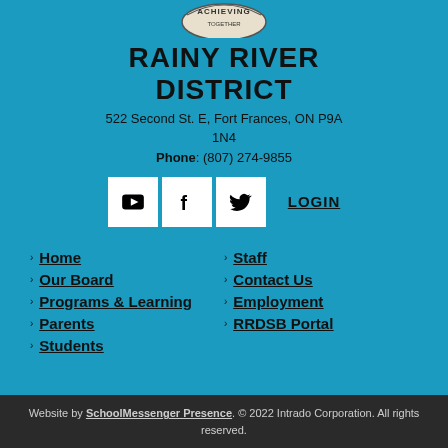[Figure (logo): Rainy River District School Board logo partial - 'ACHIEVING' arc badge at top]
RAINY RIVER DISTRICT
522 Second St. E, Fort Frances, ON P9A 1N4
Phone: (807) 274-9855
[Figure (infographic): Social media icons: YouTube, Facebook, Twitter, and LOGIN link]
Home
Our Board
Programs & Learning
Parents
Students
Staff
Contact Us
Employment
RRDSB Portal
Website by SchoolMessenger Presence. © 2022 Intrado Corporation. All rights reserved.